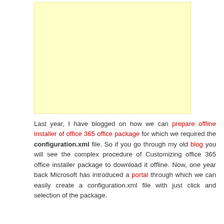[Figure (other): Yellow/cream colored advertisement placeholder box]
Last year, I have blogged on how we can prepare offline installer of office 365 office package for which we required the configuration.xml file. So if you go through my old blog you will see the complex procedure of Customizing office 365 office installer package to download it offline. Now, one year back Microsoft has introduced a portal through which we can easily create a configuration.xml file with just click and selection of the package.